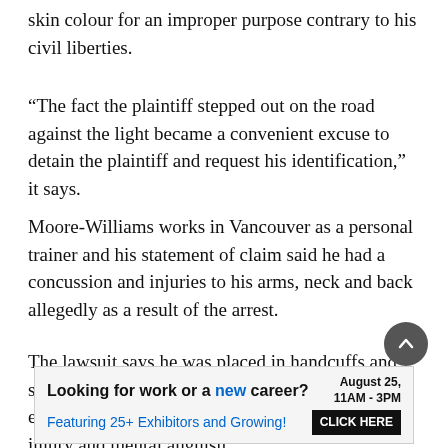skin colour for an improper purpose contrary to his civil liberties.
“The fact the plaintiff stepped out on the road against the light became a convenient excuse to detain the plaintiff and request his identification,” it says.
Moore-Williams works in Vancouver as a personal trainer and his statement of claim said he had a concussion and injuries to his arms, neck and back allegedly as a result of the arrest.
The lawsuit says he was placed in handcuffs and shackles. It asks for damages for humiliation, embarrassment, loss of dignity, pain, permanent injury and mental anguish.
[Figure (infographic): Advertisement banner: 'Looking for work or a new career? August 25, 11AM - 3PM. Featuring 25+ Exhibitors and Growing! CLICK HERE']